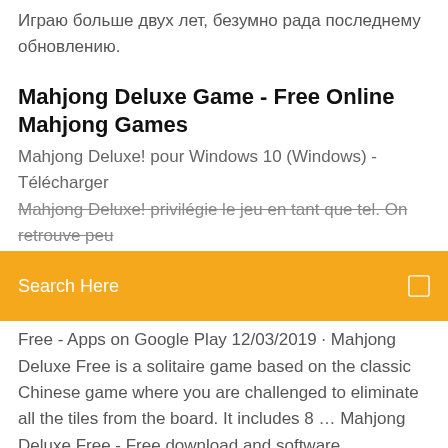Играю больше двух лет, безумно рада последнему обновлению.
Mahjong Deluxe Game - Free Online Mahjong Games
Mahjong Deluxe! pour Windows 10 (Windows) - Télécharger Mahjong Deluxe! privilégie le jeu en tant que tel. On retrouve peu
Search Here
Free - Apps on Google Play 12/03/2019 · Mahjong Deluxe Free is a solitaire game based on the classic Chinese game where you are challenged to eliminate all the tiles from the board. It includes 8 … Mahjong Deluxe Free - Free download and software … Mahjong Deluxe Free is a simple Windows 8 application. Mahjong Deluxe Free is a solitaire game based on the classic Chinese game where you are challenged to eliminate all the tiles from the board.